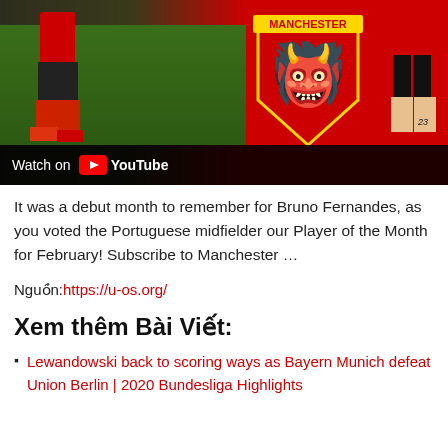[Figure (screenshot): YouTube video thumbnail showing a Manchester United themed image with players' legs visible on green pitch on the left, the Manchester United club crest on a red background on the right, and a 'Watch on YouTube' bar at the bottom.]
It was a debut month to remember for Bruno Fernandes, as you voted the Portuguese midfielder our Player of the Month for February! Subscribe to Manchester …
Nguồn:https://u-os.org/
Xem thêm Bài Viết:
Lewandowski back to scoring ways as Bayern Munich defeat Union Berlin | 2020 Bundesliga Highlights